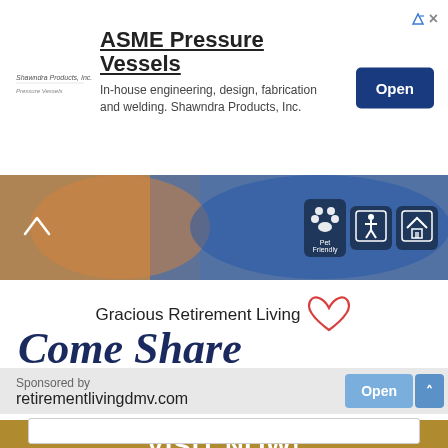[Figure (screenshot): Top advertisement banner: ASME Pressure Vessels ad with Shawndra Products logo, Open button, and navigation icons]
[Figure (photo): Photo strip showing healthcare workers in orange and blue scrubs with accessibility icons (Pet Friendly, handicap, home) on right side]
[Figure (screenshot): Gracious Retirement Living advertisement card with red heart logo, Come Share Our Enthusiasm text in dark blue italic, gold VISIT NOW button]
Sponsored by
retirementlivingdmv.com
[Figure (screenshot): Open button and scroll up chevron button in blue]